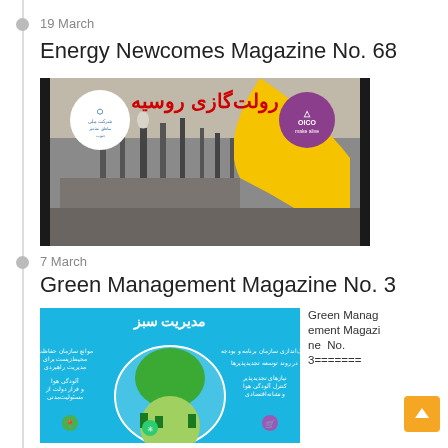19 March
Energy Newcomes Magazine No. 68
[Figure (photo): Cover of Energy Newcomes Magazine No. 68 showing an industrial oil/gas facility with Persian text and OICO logo]
7 March
Green Management Magazine No. 3
[Figure (photo): Cover of Green Management Magazine No. 3 showing a tree inside a light bulb with Persian text on blue background]
Green Management Magazine No. 3======